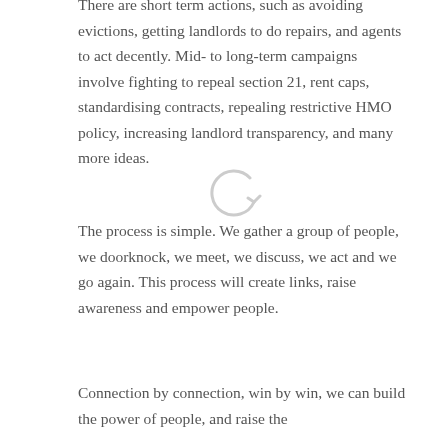There are short term actions, such as avoiding evictions, getting landlords to do repairs, and agents to act decently. Mid- to long-term campaigns involve fighting to repeal section 21, rent caps, standardising contracts, repealing restrictive HMO policy, increasing landlord transparency, and many more ideas.
The process is simple. We gather a group of people, we doorknock, we meet, we discuss, we act and we go again. This process will create links, raise awareness and empower people.
Connection by connection, win by win, we can build the power of people, and raise the